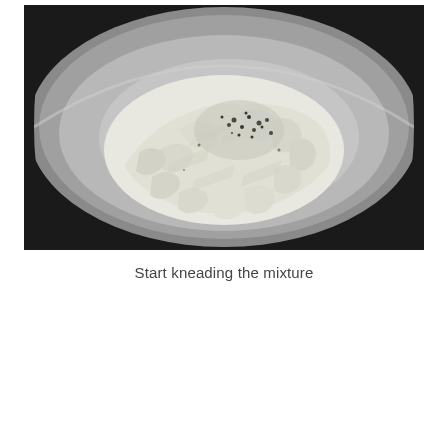[Figure (photo): Overhead view of a round metal bowl containing shredded or grated white food mixture (likely potato or dough) with black pepper or spices sprinkled on top, sitting on a dark surface.]
Start kneading the mixture